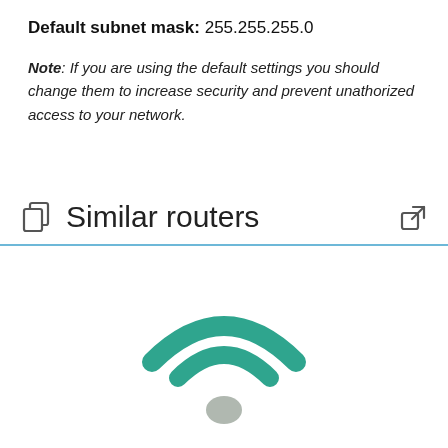Default subnet mask: 255.255.255.0
Note: If you are using the default settings you should change them to increase security and prevent unathorized access to your network.
Similar routers
[Figure (illustration): WiFi signal icon with three arcs in teal/green color and a gray dot at the bottom center]